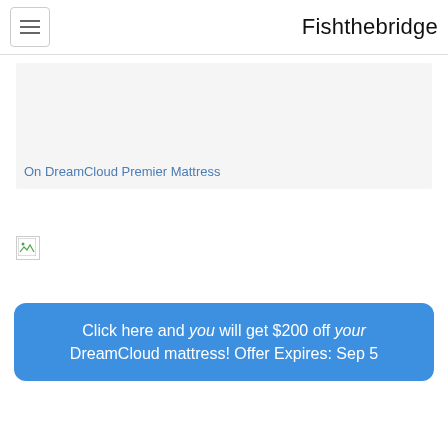Fishthebridge
On DreamCloud Premier Mattress
[Figure (other): Broken image placeholder icon]
Click here and you will get $200 off your DreamCloud mattress! Offer Expires: Sep 5